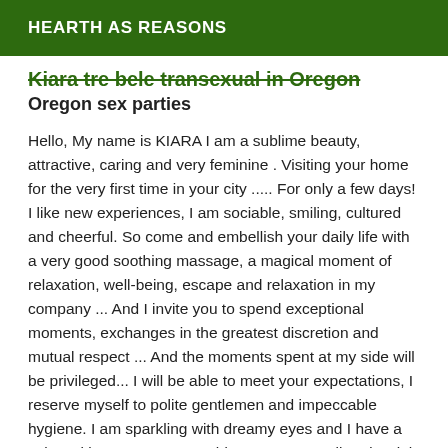HEARTH AS REASONS
Kiara tre bele transexual in Oregon
Oregon sex parties
Hello, My name is KIARA I am a sublime beauty, attractive, caring and very feminine . Visiting your home for the very first time in your city ..... For only a few days! I like new experiences, I am sociable, smiling, cultured and cheerful. So come and embellish your daily life with a very good soothing massage, a magical moment of relaxation, well-being, escape and relaxation in my company ... And I invite you to spend exceptional moments, exchanges in the greatest discretion and mutual respect ... And the moments spent at my side will be privileged... I will be able to meet your expectations, I reserve myself to polite gentlemen and impeccable hygiene. I am sparkling with dreamy eyes and I have a velvet skin. I am 29 years old, I am 1.70 m tall and weigh 60 kg, I like discretion. My apartment is discreet, quiet,